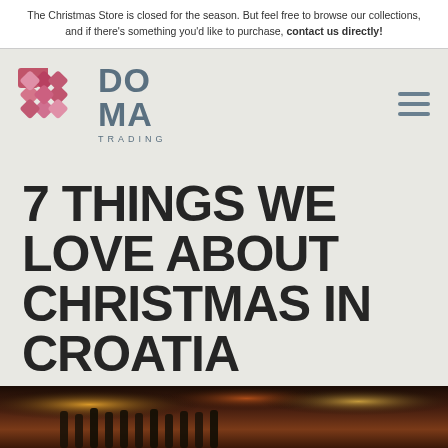The Christmas Store is closed for the season. But feel free to browse our collections, and if there's something you'd like to purchase, contact us directly!
[Figure (logo): DOMA Trading logo with pink/red interlocking diamond/cross pattern and grey DOMA TRADING text]
7 THINGS WE LOVE ABOUT CHRISTMAS IN CROATIA
CULTURE | KULTURA, HOLIDAYS | BLAGDANI
[Figure (photo): Christmas market scene with bottles in foreground and warm festive lights in background]